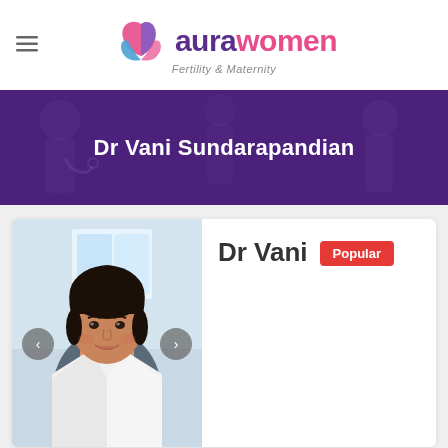[Figure (logo): Aura Women Fertility & Maternity logo with stylized leaf/flower graphic. Text reads 'aurawomen' with tagline 'Fertility & Maternity']
Dr Vani Sundarapandian
[Figure (photo): Profile photo of Dr Vani, a female doctor wearing a white coat, smiling, with dark hair pulled back, seated in an office setting. Navigation arrows (< >) visible on sides of photo.]
Dr Vani
Popular